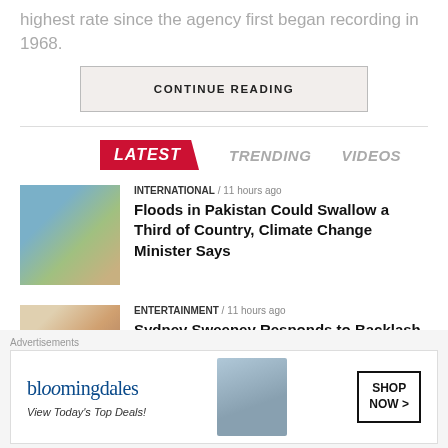highest rate since the agency first began recording in 1968.
CONTINUE READING
LATEST   TRENDING   VIDEOS
[Figure (photo): Aerial photo of flooding in Pakistan]
INTERNATIONAL / 11 hours ago
Floods in Pakistan Could Swallow a Third of Country, Climate Change Minister Says
[Figure (photo): Photo of Sydney Sweeney and family]
ENTERTAINMENT / 11 hours ago
Sydney Sweeney Responds to Backlash Over Family Photos Featuring Pro-Cop Shirt and MAGA-Inspired Hats
Advertisements
[Figure (infographic): Bloomingdale's advertisement: View Today's Top Deals! SHOP NOW >]